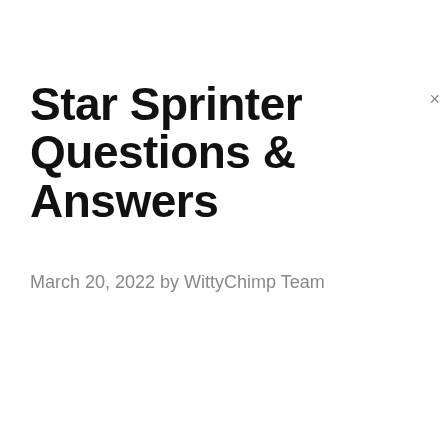Star Sprinter Questions & Answers
March 20, 2022 by WittyChimp Team